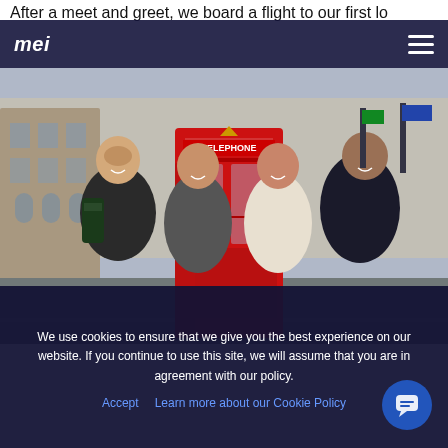After a meet and greet, we board a flight to our first location
mei [logo] | hamburger menu
[Figure (photo): Four smiling young people posing in front of a red London telephone box (TELEPHONE) on a busy London street with classic architecture in the background.]
We use cookies to ensure that we give you the best experience on our website. If you continue to use this site, we will assume that you are in agreement with our policy.
Accept   Learn more about our Cookie Policy